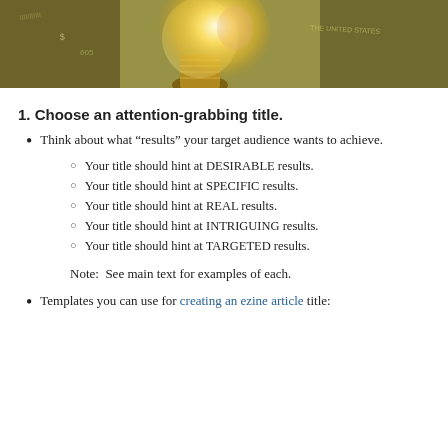[Figure (photo): A glowing light bulb placed on top of US dollar bills, with a golden warm glow emanating from the bulb.]
1. Choose an attention-grabbing title.
Think about what “results” your target audience wants to achieve.
Your title should hint at DESIRABLE results.
Your title should hint at SPECIFIC results.
Your title should hint at REAL results.
Your title should hint at INTRIGUING results.
Your title should hint at TARGETED results.
Note:  See main text for examples of each.
Templates you can use for creating an ezine article title: